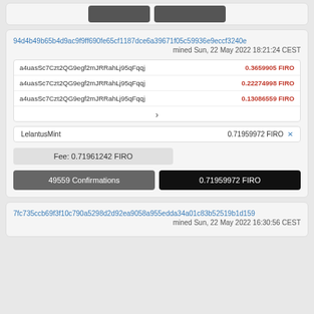94d4b49b65b4d9ac9f9ff690fe65cf1187dce6a39671f05c59936e9eccf3240e
mined Sun, 22 May 2022 18:21:24 CEST
| Address | Amount |
| --- | --- |
| a4uasSc7Czt2QG9egf2mJRRahLj95qFqqj | 0.3659905 FIRO |
| a4uasSc7Czt2QG9egf2mJRRahLj95qFqqj | 0.22274998 FIRO |
| a4uasSc7Czt2QG9egf2mJRRahLj95qFqqj | 0.13086559 FIRO |
LelantusMint    0.71959972 FIRO ×
Fee: 0.71961242 FIRO
49559 Confirmations
0.71959972 FIRO
7fc735ccb69f3f10c790a5298d2d92ea9058a955edda34a01c83b52519b1d159
mined Sun, 22 May 2022 16:30:56 CEST